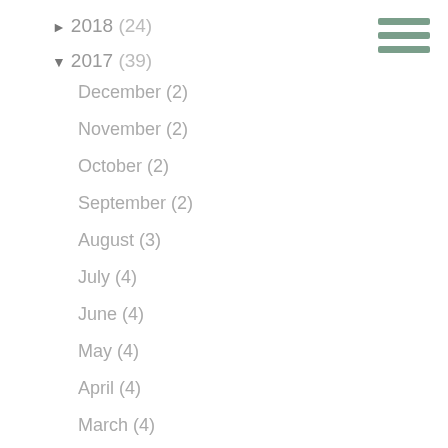► 2018 (24)
▼ 2017 (39)
December (2)
November (2)
October (2)
September (2)
August (3)
July (4)
June (4)
May (4)
April (4)
March (4)